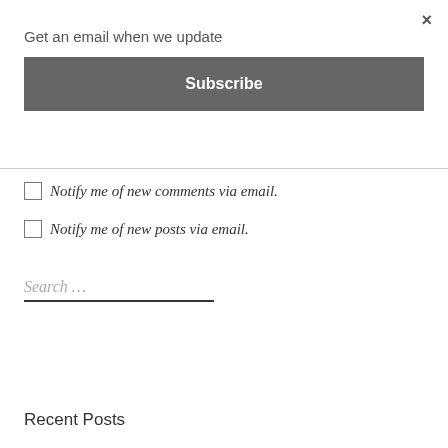×
Get an email when we update
Subscribe
Notify me of new comments via email.
Notify me of new posts via email.
Search …
Recent Posts